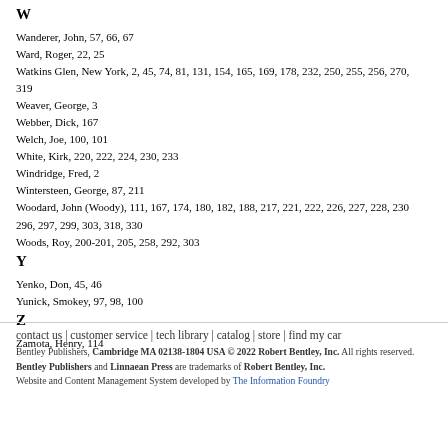W
Wanderer, John, 57, 66, 67
Ward, Roger, 22, 25
Watkins Glen, New York, 2, 45, 74, 81, 131, 154, 165, 169, 178, 232, 250, 255, 256, 270, 319
Weaver, George, 3
Webber, Dick, 167
Welch, Joe, 100, 101
White, Kirk, 220, 222, 224, 230, 233
Windridge, Fred, 2
Wintersteen, George, 87, 211
Woodard, John (Woody), 111, 167, 174, 180, 182, 188, 217, 221, 222, 226, 227, 228, 230, 296, 297, 299, 303, 318, 330
Woods, Roy, 200-201, 205, 258, 292, 303
Y
Yenko, Don, 45, 46
Yunick, Smokey, 97, 98, 100
Z
Zamota, Henry, 114
contact us | customer service | tech library | catalog | store | find my car
Bentley Publishers, Cambridge MA 02138-1804 USA © 2022 Robert Bentley, Inc. All rights reserved. Bentley Publishers and Linnaean Press are trademarks of Robert Bentley, Inc. Website and Content Management System developed by The Information Foundry